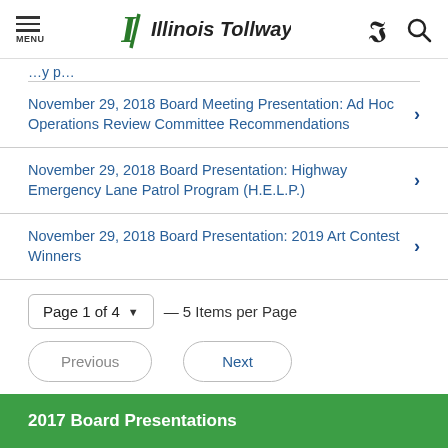Illinois Tollway
November 29, 2018 Board Meeting Presentation: Ad Hoc Operations Review Committee Recommendations
November 29, 2018 Board Presentation: Highway Emergency Lane Patrol Program (H.E.L.P.)
November 29, 2018 Board Presentation: 2019 Art Contest Winners
Page 1 of 4 — 5 Items per Page
Previous  Next
2017 Board Presentations